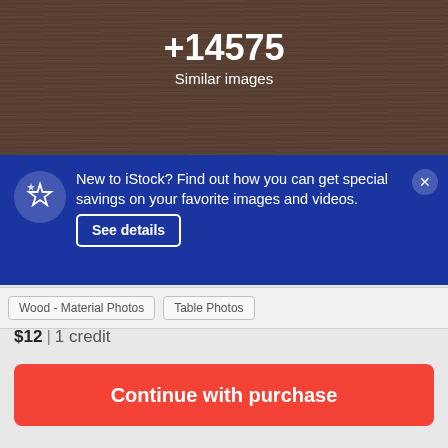[Figure (photo): Wood texture background (dark brown wood grain) with white text overlay showing '+14575 Similar images']
+14575
Similar images
New to iStock? Find out how you can get special savings on your favorite images and videos.
See details
Wood - Material Photos
Table Photos
$12 | 1 credit
Continue with purchase